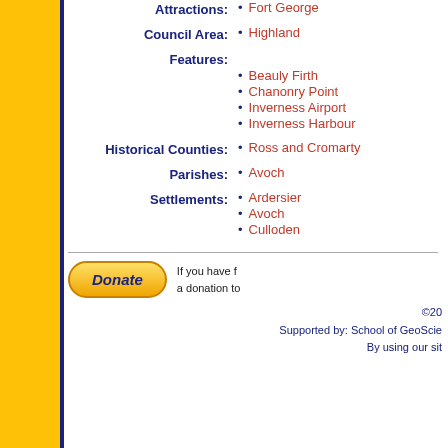Attractions:
Fort George
Council Area:
Highland
Features:
Beauly Firth
Chanonry Point
Inverness Airport
Inverness Harbour
Historical Counties:
Ross and Cromarty
Parishes:
Avoch
Settlements:
Ardersier
Avoch
Culloden
If you have f... a donation to... ©20... Supported by: School of GeoScie... By using our sit...